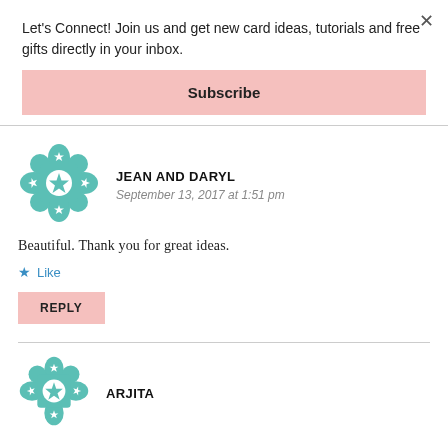Let's Connect! Join us and get new card ideas, tutorials and free gifts directly in your inbox.
Subscribe
JEAN AND DARYL
September 13, 2017 at 1:51 pm
Beautiful. Thank you for great ideas.
Like
REPLY
ARJITA